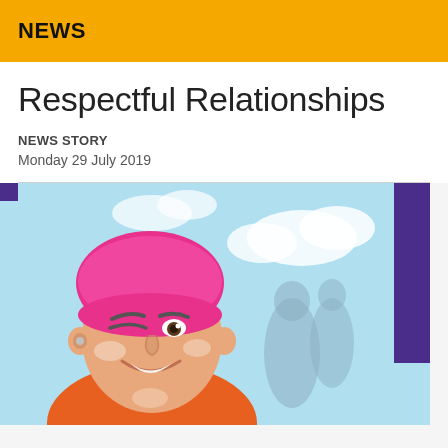NEWS
Respectful Relationships
NEWS STORY
Monday 29 July 2019
[Figure (illustration): Comic-style illustration showing two animated characters: a young woman with pink hair wearing an orange shirt smiling, and a bearded man with dark hair wearing an orange shirt looking serious, against a light blue sky background. A red banner in the lower right reads 'Respectful Relationships' with the word 'Relationships' appearing upside down/mirrored.]